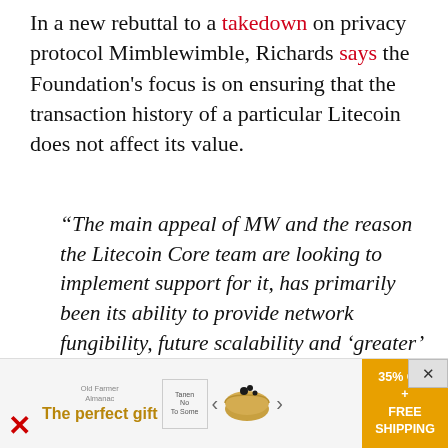In a new rebuttal to a takedown on privacy protocol Mimblewimble, Richards says the Foundation's focus is on ensuring that the transaction history of a particular Litecoin does not affect its value.
“The main appeal of MW and the reason the Litecoin Core team are looking to implement support for it, has primarily been its ability to provide network fungibility, future scalability and ‘greater’ (not complete) privacy.
Fungibility is derived from the inclusion of confidential transactions (CT) and...